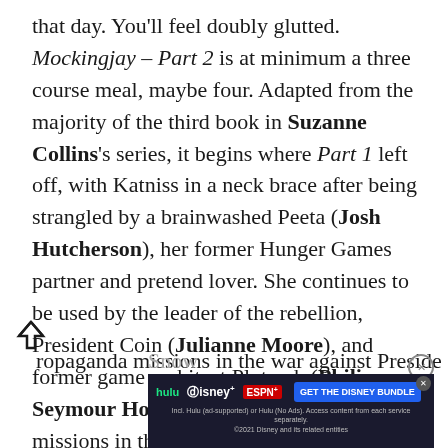that day. You'll feel doubly glutted. Mockingjay – Part 2 is at minimum a three course meal, maybe four. Adapted from the majority of the third book in Suzanne Collins's series, it begins where Part 1 left off, with Katniss in a neck brace after being strangled by a brainwashed Peeta (Josh Hutcherson), her former Hunger Games partner and pretend lover. She continues to be used by the leader of the rebellion, President Coin (Julianne Moore), and former game architect Plutarch (Philip Seymour Hoffman) for propaganda missions in the war against President Snow
[Figure (other): Advertisement banner for Disney Bundle (Hulu, Disney+, ESPN+) with blue CTA button 'GET THE DISNEY BUNDLE' and fine print about subscription terms]